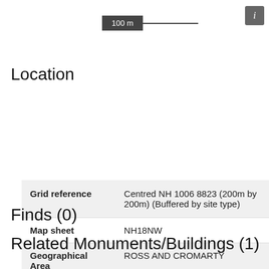[Figure (other): Map scale bar showing 100 m with dark box and line, plus info button (i) in top right corner]
Location
|  |  |
| --- | --- |
| Grid reference | Centred NH 1006 8823 (200m by 200m) (Buffered by site type) |
| Map sheet | NH18NW |
| Geographical Area | ROSS AND CROMARTY |
| Civil Parish | LOCHBROOM |
Finds (0)
Related Monuments/Buildings (1)